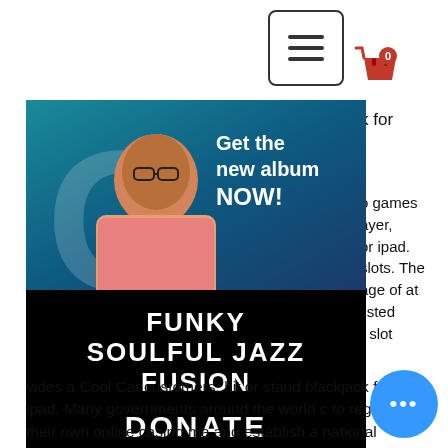[Figure (screenshot): Hamburger menu button icon (three horizontal lines in a rounded rectangle border)]
[Figure (illustration): Shopping cart icon with badge showing 0]
[Figure (photo): Music promo image showing a man in a pink shirt against a teal background with overlay text 'Get the new album NOW!' and below a black panel with 'FUNKY SOULFUL JAZZ FUSION' and 'DONATE' with social media icons]
k for
o games ayer, or ipad. slots. The age of at listed r slot
vides a Cool Cat customers, hit or stand blackjack for ipad. Many governments around the world c to regulate their own online casino ma and establish a national license, hit or stand